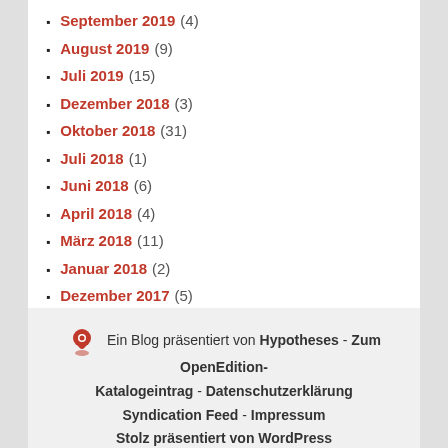September 2019 (4)
August 2019 (9)
Juli 2019 (15)
Dezember 2018 (3)
Oktober 2018 (31)
Juli 2018 (1)
Juni 2018 (6)
April 2018 (4)
März 2018 (11)
Januar 2018 (2)
Dezember 2017 (5)
Ein Blog präsentiert von Hypotheses - Zum OpenEdition-Katalogeintrag - Datenschutzerklärung Syndication Feed - Impressum Stolz präsentiert von WordPress